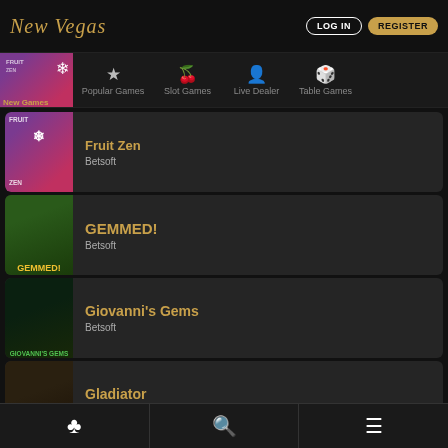New Vegas — LOG IN | REGISTER
New Games | Popular Games | Slot Games | Live Dealer | Table Games
Fruit Zen — Betsoft
GEMMED! — Betsoft
Giovanni's Gems — Betsoft
Gladiator — Betsoft